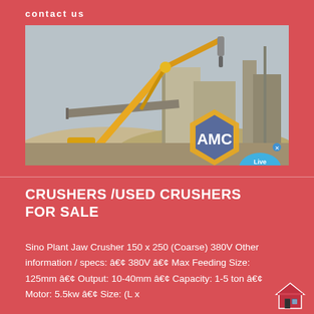contact us
[Figure (photo): Industrial crusher plant with yellow crane/boom arm machinery against a grey sky, with AMC logo overlay and Live Chat bubble]
CRUSHERS /USED CRUSHERS FOR SALE
Sino Plant Jaw Crusher 150 x 250 (Coarse) 380V Other information / specs: • 380V • Max Feeding Size: 125mm • Output: 10-40mm • Capacity: 1-5 ton • Motor: 5.5kw • Size: (L x